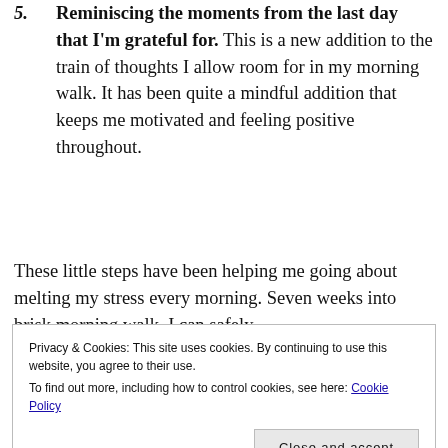5. Reminiscing the moments from the last day that I'm grateful for. This is a new addition to the train of thoughts I allow room for in my morning walk. It has been quite a mindful addition that keeps me motivated and feeling positive throughout.
These little steps have been helping me going about melting my stress every morning. Seven weeks into brisk morning walk, I can safely
Privacy & Cookies: This site uses cookies. By continuing to use this website, you agree to their use.
To find out more, including how to control cookies, see here: Cookie Policy
Close and accept